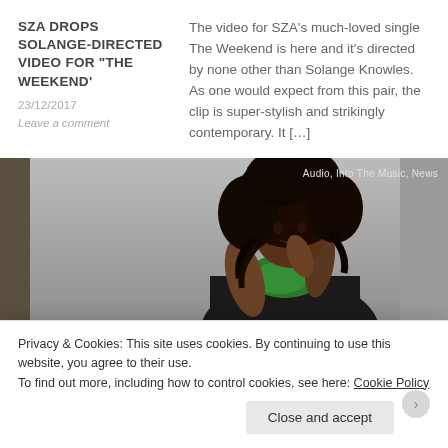SZA DROPS SOLANGE-DIRECTED VIDEO FOR “THE WEEKEND’
23/12/2017
Leave a comment
The video for SZA’s much-loved single The Weekend is here and it’s directed by none other than Solange Knowles. As one would expect from this pair, the clip is super-stylish and strikingly contemporary. It […]
[Figure (photo): Photo of a young black woman with long curly hair, wearing a dark outfit with green accessories, seated against a grey background. Tags: Audio, Into The Music, News]
HEAR SZA’S NEW
It’s been a busy few days for TDF songstress SZA
Privacy & Cookies: This site uses cookies. By continuing to use this website, you agree to their use.
To find out more, including how to control cookies, see here: Cookie Policy
Close and accept